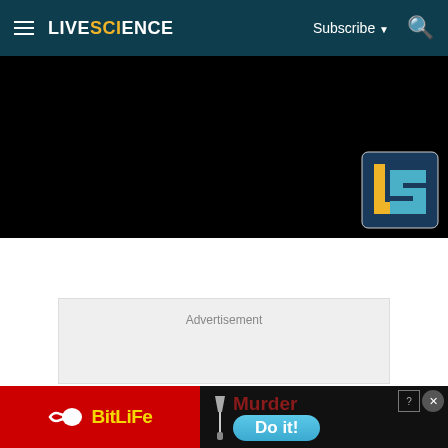LIVESCIENCE — Subscribe — Search
[Figure (screenshot): Black video player area with Live Science logo watermark (gold and blue LS letters on dark background) in bottom right corner]
Advertisement
[Figure (infographic): Bottom advertisement banner: left side red background with sperm icon and BitLife yellow logo; right side dark background with knife icon, 'Murder' text in dark red, 'Do it!' button in blue gradient. Close/question buttons in top right corner.]